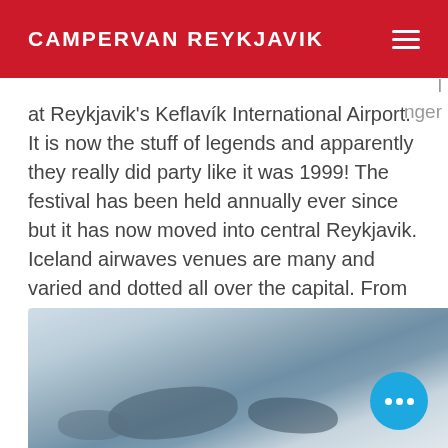CAMPERVAN REYKJAVIK
ed on …nger at Reykjavik's Keflavík International Airport. It is now the stuff of legends and apparently they really did party like it was 1999! The festival has been held annually ever since but it has now moved into central Reykjavik. Iceland airwaves venues are many and varied and dotted all over the capital. From the giant Harpa Concert Hall to the tiniest of backroom bars venues right across the city get involved.
[Figure (photo): Blurred outdoor landscape photo showing dark silhouetted shapes against a pale blue-grey sky, likely a coastal or urban scene in Iceland]